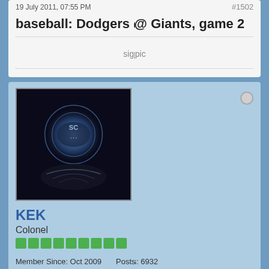19 July 2011, 07:55 PM
#1502
baseball: Dodgers @ Giants, game 2
sigpic
[Figure (photo): User avatar for KEK — dark sci-fi themed image with glowing orb and text]
KEK
Colonel
Member Since: Oct 2009   Posts: 6932
19 July 2011, 08:20 PM
#1503
Dexter 2x02 - 2x05